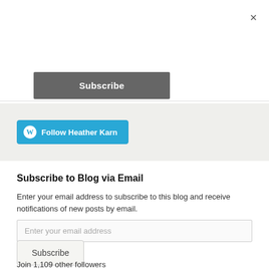×
Subscribe
[Figure (other): WordPress Follow button with cyan background reading 'Follow Heather Karn']
Subscribe to Blog via Email
Enter your email address to subscribe to this blog and receive notifications of new posts by email.
Enter your email address
Subscribe
Join 1,109 other followers